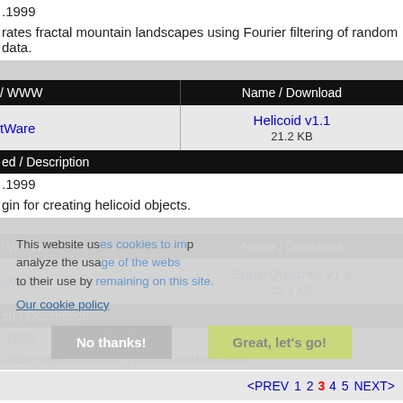.1999
rates fractal mountain landscapes using Fourier filtering of random data.
| / WWW | Name / Download |
| --- | --- |
| tWare | Helicoid v1.1
21.2 KB |
ed / Description
.1999
gin for creating helicoid objects.
| / WWW | Name / Download |
| --- | --- |
| tWare | SuperQuadrics v1.1
22.1 KB |
ed / Description
.1999
rates superquadric ellipsoids and toroids.
<PREV 1 2 3 4 5 NEXT>